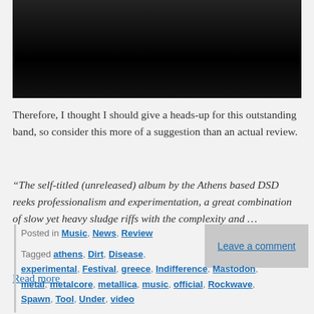[Figure (photo): Dark photograph, mostly black, partial view of a subject against a dark background]
Therefore, I thought I should give a heads-up for this outstanding band, so consider this more of a suggestion than an actual review.
“The self-titled (unreleased) album by the Athens based DSD reeks professionalism and experimentation, a great combination of slow yet heavy sludge riffs with the complexity and …
Read more
Posted in Music, News, Review
Tagged athens, Dirt, Disease, experimental, Festival, greece, Indifference, Mastodon, metal, metalcore, metallica, music, official, Rockwave, Spawn, Tool, Under, video
Leave a comment